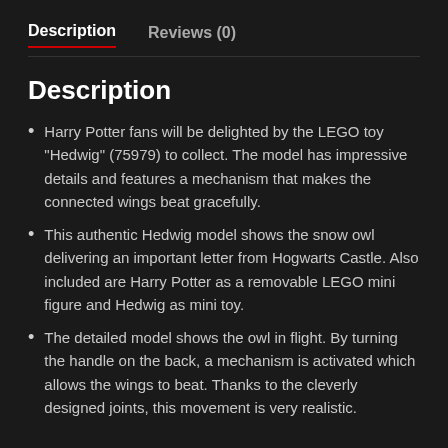Description | Reviews (0)
Description
Harry Potter fans will be delighted by the LEGO toy "Hedwig" (75979) to collect. The model has impressive details and features a mechanism that makes the connected wings beat gracefully.
This authentic Hedwig model shows the snow owl delivering an important letter from Hogwarts Castle. Also included are Harry Potter as a removable LEGO mini figure and Hedwig as mini toy.
The detailed model shows the owl in flight. By turning the handle on the back, a mechanism is activated which allows the wings to beat. Thanks to the cleverly designed joints, this movement is very realistic.